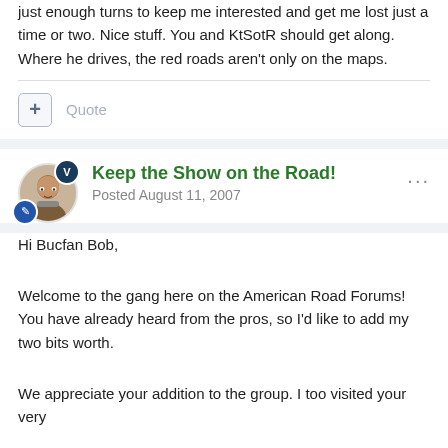just enough turns to keep me interested and get me lost just a time or two. Nice stuff. You and KtSotR should get along. Where he drives, the red roads aren't only on the maps.
Quote
Keep the Show on the Road!
Posted August 11, 2007
Hi Bucfan Bob,
Welcome to the gang here on the American Road Forums! You have already heard from the pros, so I'd like to add my two bits worth.
We appreciate your addition to the group. I too visited your very